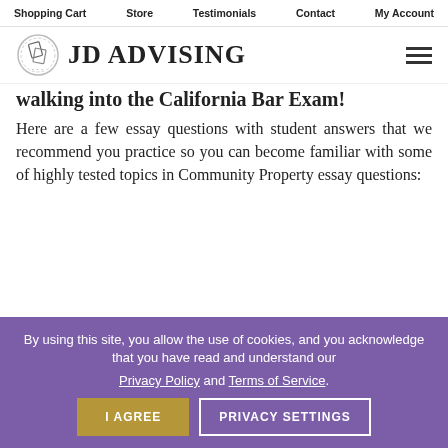Shopping Cart   Store   Testimonials   Contact   My Account
[Figure (logo): JD Advising logo with circular stamp icon and text 'JD ADVISING']
walking into the California Bar Exam!
Here are a few essay questions with student answers that we recommend you practice so you can become familiar with some of highly tested topics in Community Property essay questions:
By using this site, you allow the use of cookies, and you acknowledge that you have read and understand our Privacy Policy and Terms of Service.
I AGREE   PRIVACY SETTINGS